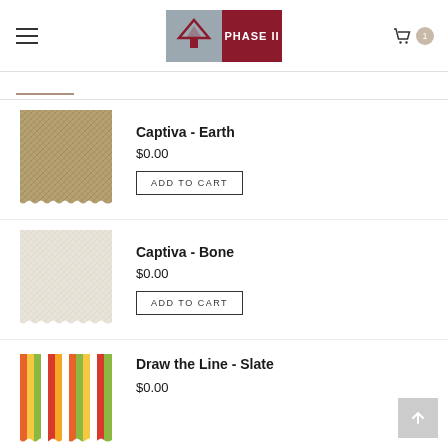[Figure (logo): Phase II logo with grey left half showing triangle/house icon and dark red right half with PHASE II text]
[Figure (photo): Fabric swatch - Captiva Earth, a woven beige/tan textured fabric sample with zigzag cut edges]
Captiva - Earth
$0.00
ADD TO CART
[Figure (photo): Fabric swatch - Captiva Bone, a light cream/white woven textured fabric sample with zigzag cut edges]
Captiva - Bone
$0.00
ADD TO CART
[Figure (photo): Fabric swatch - Draw the Line Slate, colorful vertical stripes in orange, yellow, green, red on white background]
Draw the Line - Slate
$0.00